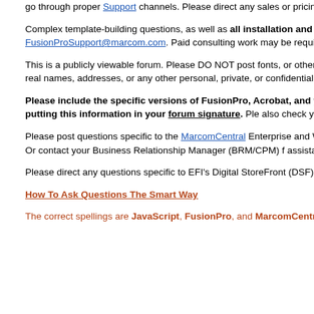go through proper Support channels. Please direct any sales or pricing questions to your salesperson or inquiries@marcom.com.
Complex template-building questions, as well as all installation and FusionPro questions or problems, should be directed to FusionProSupport@marcom.com. Paid consulting work may be required to fulfill your template-building needs.
This is a publicly viewable forum. Please DO NOT post fonts, or other proprietary content, to this forum. Also, please DO NOT post any "live" data with real names, addresses, or any other personal, private, or confidential data.
Please include the specific versions of FusionPro, Acrobat, and your operating system in any problem reports or help requests. I recommend putting this information in your forum signature. Please also check your composition log (.msg) file for relevant error or warning messages.
Please post questions specific to the MarcomCentral Enterprise and Web-to-Print applications in the MarcomCentral forum. Click here to request access. Or contact your Business Relationship Manager (BRM/CPM) for assistance.
Please direct any questions specific to EFI's Digital StoreFront (DSF) to EFI support.
How To Ask Questions The Smart Way
The correct spellings are JavaScript, FusionPro, and MarcomCentral